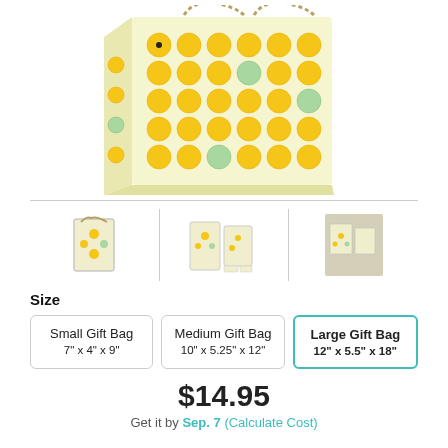[Figure (photo): Emoji-print gift bag with chain handles, covered in various emoji faces on a light yellow background, shown at an angle.]
[Figure (photo): Three thumbnail images of the emoji gift bag product: single bag front view, two bags side by side, and bags displayed in a lifestyle setting.]
Size
Small Gift Bag 7" x 4" x 9"
Medium Gift Bag 10" x 5.25" x 12"
Large Gift Bag 12" x 5.5" x 18"
$14.95
Get it by Sep. 7 (Calculate Cost)